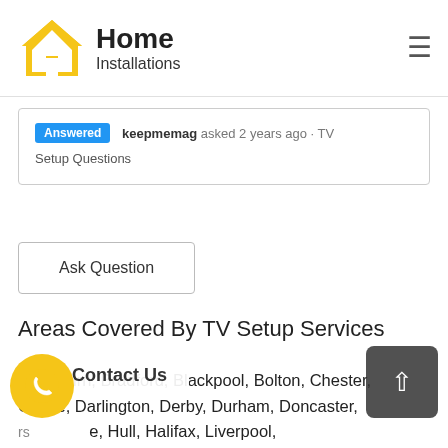[Figure (logo): Home Installations logo — yellow house icon with the text 'Home' in bold serif and 'Installations' below]
Answered   keepmemag asked 2 years ago · TV Setup Questions
Ask Question
Areas Covered By TV Setup Services
Blackburn, Bradford, Blackpool, Bolton, Chester, Crewe, Darlington, Derby, Durham, Doncaster, rs, e, Hull, Halifax, Liverpool, h, Leeds, Manchester, Middlesbrough, Newcastle, Nottingham, Oldham, Preston, Sheffield, Blackburn, Bradford, Wharton, Wharton,